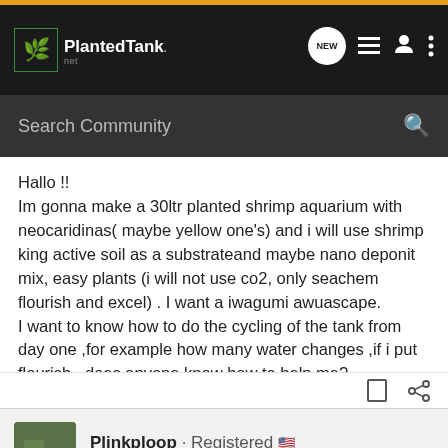[Figure (logo): PlantedTank.net logo with leaf icon in green box]
Search Community
Hallo !!
Im gonna make a 30ltr planted shrimp aquarium with neocaridinas( maybe yellow one's) and i will use shrimp king active soil as a substrateand maybe nano deponit mix, easy plants (i will not use co2, only seachem flourish and excel) . I want a iwagumi awuascape.
I want to know how to do the cycling of the tank from day one ,for example how many water changes ,if i put flourish , does anyone know how to help me?
Plinkploop · Registered
Joined Jan 24, 2021 · 2,141 Posts